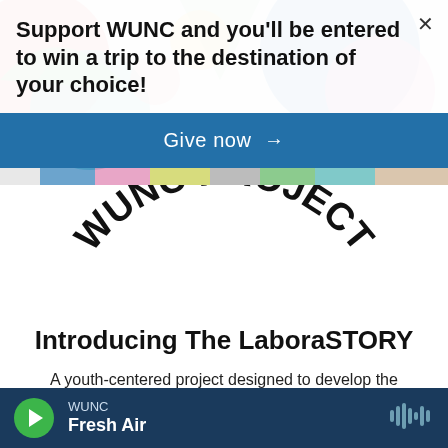[Figure (illustration): Colorful geometric shapes background header — circles, triangles, rectangles in pink, teal, green, blue, yellow, grey]
Support WUNC and you'll be entered to win a trip to the destination of your choice!
Give now →
[Figure (logo): WUNC PROJECT text arranged in a circular/arc pattern in bold black letters]
Introducing The LaboraSTORY
A youth-centered project designed to develop the content and curriculum creation skills of local high school students.
WUNC Fresh Air